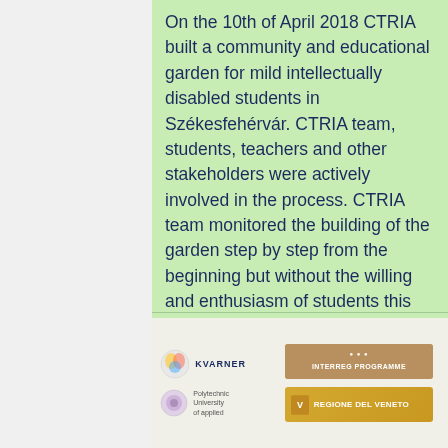On the 10th of April 2018 CTRIA built a community and educational garden for mild intellectually disabled students in Székesfehérvár. CTRIA team, students, teachers and other stakeholders were actively involved in the process. CTRIA team monitored the building of the garden step by step from the beginning but without the willing and enthusiasm of students this lovely garden could not be established. The result was very successful. After three local workshops that aimed the pl
[Figure (logo): Footer area with logos: Kvarner logo, University of applied sciences logo, an orange/tan banner logo, and Regione del Veneto logo]